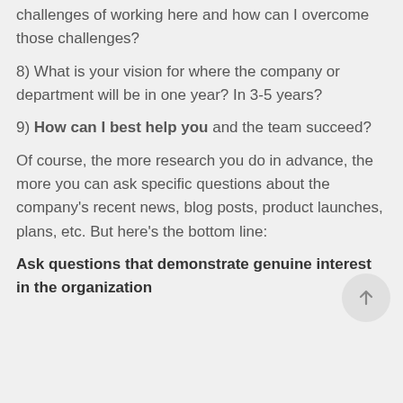challenges of working here and how can I overcome those challenges?
8) What is your vision for where the company or department will be in one year? In 3-5 years?
9) How can I best help you and the team succeed?
Of course, the more research you do in advance, the more you can ask specific questions about the company's recent news, blog posts, product launches, plans, etc. But here's the bottom line:
Ask questions that demonstrate genuine interest in the organization